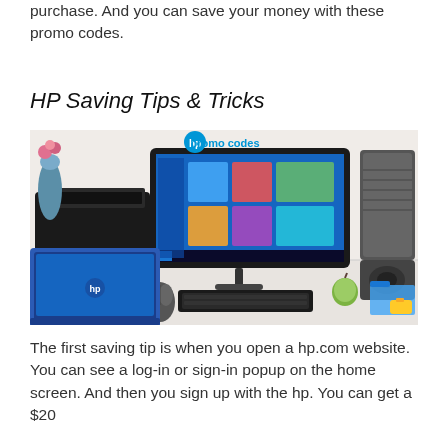purchase. And you can save your money with these promo codes.
HP Saving Tips & Tricks
[Figure (photo): HP promotional image showing HP products including a blue laptop, an all-in-one desktop PC running Windows 10, an HP printer, and a speaker, with text 'hp promo codes' at the top.]
The first saving tip is when you open a hp.com website. You can see a log-in or sign-in popup on the home screen. And then you sign up with the hp. You can get a $20...